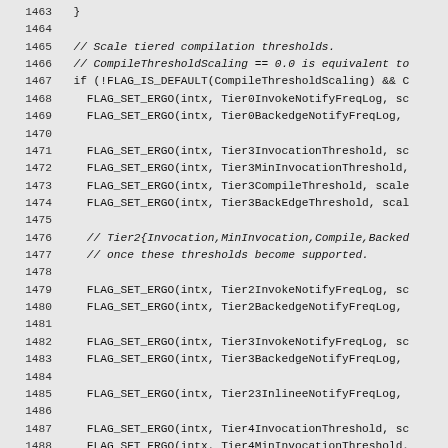Source code listing, lines 1463-1493, showing FLAG_SET_ERGO calls for tiered compilation threshold scaling in a JVM or similar runtime.